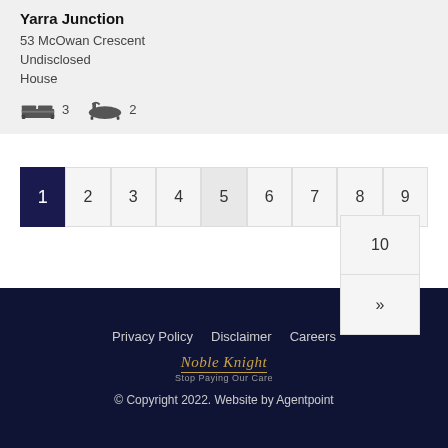Yarra Junction
53 McOwan Crescent
Undisclosed
House
3 bedrooms, 2 bathrooms
1
2
3
4
5
6
7
8
9
10
»
Privacy Policy   Disclaimer   Careers
Noble Knight
© Copyright 2022. Website by Agentpoint